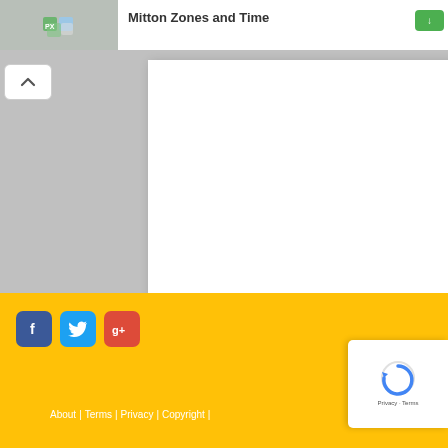PX
[Figure (screenshot): Website screenshot showing a document viewer interface with a white page displayed on a gray background, with a collapse/chevron button in the top-left of the viewer]
About | Terms | Privacy | Copyright |